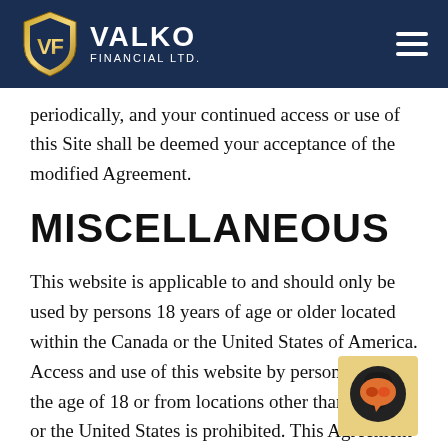VALKO FINANCIAL LTD.
periodically, and your continued access or use of this Site shall be deemed your acceptance of the modified Agreement.
MISCELLANEOUS
This website is applicable to and should only be used by persons 18 years of age or older located within the Canada or the United States of America. Access and use of this website by persons under the age of 18 or from locations other than Canada or the United States is prohibited. This Agreement and the resolution of any dispute related to this Agreement or this Site shall be governed by and construed in accordance with the laws of Canada without giving effect to any principles of conflicts of law. Failure by Dominion
[Figure (other): Chat widget button with speech bubble icon in gold/orange colors]